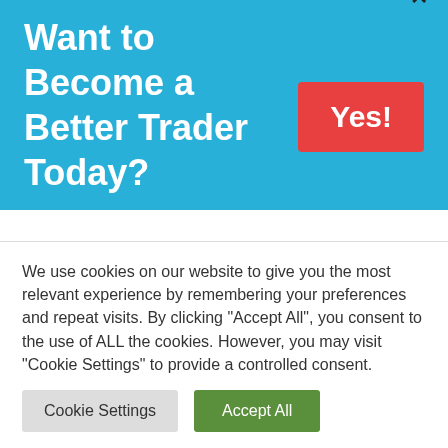Want to Become a Better Trader Today?
Trading Strategies
Both option buying and option selling have their advantages. Therefore, it can be hard to pick one.
We use cookies on our website to give you the most relevant experience by remembering your preferences and repeat visits. By clicking "Accept All", you consent to the use of ALL the cookies. However, you may visit "Cookie Settings" to provide a controlled consent.